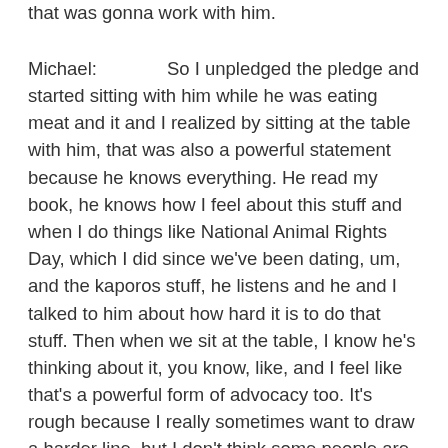that was gonna work with him.
Michael: So I unpledged the pledge and started sitting with him while he was eating meat and it and I realized by sitting at the table with him, that was also a powerful statement because he knows everything. He read my book, he knows how I feel about this stuff and when I do things like National Animal Rights Day, which I did since we've been dating, um, and the kaporos stuff, he listens and he and I talked to him about how hard it is to do that stuff. Then when we sit at the table, I know he's thinking about it, you know, like, and I feel like that's a powerful form of advocacy too. It's rough because I really sometimes want to draw a harder line, but I don't think some people are